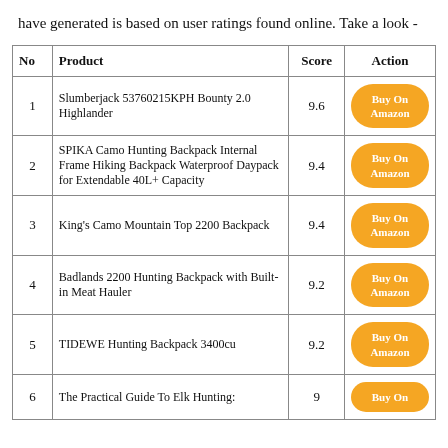have generated is based on user ratings found online. Take a look -
| No | Product | Score | Action |
| --- | --- | --- | --- |
| 1 | Slumberjack 53760215KPH Bounty 2.0 Highlander | 9.6 | Buy On Amazon |
| 2 | SPIKA Camo Hunting Backpack Internal Frame Hiking Backpack Waterproof Daypack for Extendable 40L+ Capacity | 9.4 | Buy On Amazon |
| 3 | King's Camo Mountain Top 2200 Backpack | 9.4 | Buy On Amazon |
| 4 | Badlands 2200 Hunting Backpack with Built-in Meat Hauler | 9.2 | Buy On Amazon |
| 5 | TIDEWE Hunting Backpack 3400cu | 9.2 | Buy On Amazon |
| 6 | The Practical Guide To Elk Hunting: | 9 | Buy On |